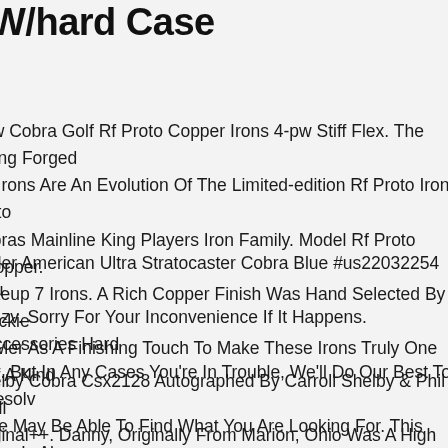W/hard Case
ew Cobra Golf Rf Proto Copper Irons 4-pw Stiff Flex. The King Forged Cb Irons Are An Evolution Of The Limited-edition Rf Proto Iron Into Cobras Mainline King Players Iron Family. Model Rf Proto Copper. Makeup 7 Irons. A Rich Copper Finish Was Hand Selected By Rickie Fowler As A Finishing Touch To Make These Irons Truly One Of A Kind
nder American Ultra Stratocaster Cobra Blue #us22032254 Pu g4zv. Sorry For Your Inconvenience If It Happens. Accessories Hard se. But In Any Cases You're In Trouble, We'll Do Our Best To Resolve. We May Be Able To Find What You Are Looking For. This Item Is Also sted On Other Platform.
helby Cobra Csx2128 Autographed By Carroll Shelby & Phil Hill riginal++. Danny, Originally From Marion, Ohio Was A High School Athlete Who Excelled At A Variety Of Sports. The Shelby Was Driven By Dan Gurney, Ken Miles, Lew Spencer, Allen Grant, Phil Hill And Others